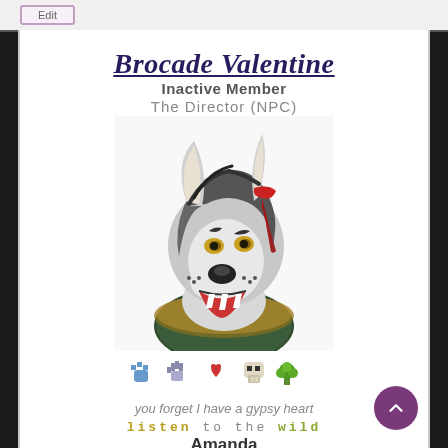Brocade Valentine
Inactive Member
The Director (NPC)
[Figure (illustration): Digital painting of a wolf/dog furry character with dark gray and white fur, wearing a dark green military-style collar with gold trim and a red ribbon in their hair, shown from the shoulders up, mouth open showing teeth, with amber eyes.]
🐾 🐏 ❤️ 💀 🥦
you forget I have a gypsy heart
listen to the wild
Amanda